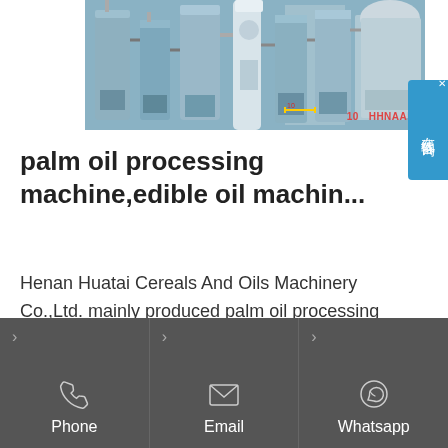[Figure (photo): Industrial palm oil processing machinery inside a factory — large blue cylindrical tanks, pipes, and equipment]
palm oil processing machine,edible oil machin...
Henan Huatai Cereals And Oils Machinery Co.,Ltd. mainly produced palm oil processing machine,palm oil refing machine,edible oil pressing
[Figure (infographic): Bottom navigation bar with Phone, Email, and Whatsapp contact icons on a dark grey background]